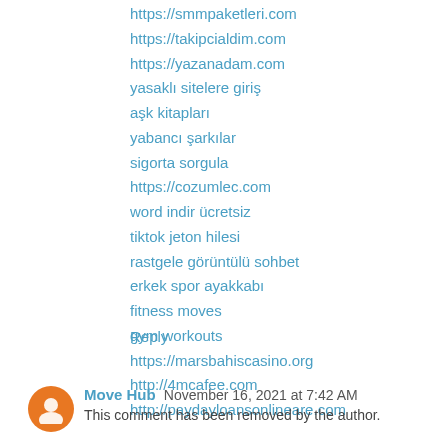https://smmpaketleri.com
https://takipcialdim.com
https://yazanadam.com
yasaklı sitelere giriş
aşk kitapları
yabancı şarkılar
sigorta sorgula
https://cozumlec.com
word indir ücretsiz
tiktok jeton hilesi
rastgele görüntülü sohbet
erkek spor ayakkabı
fitness moves
gym workouts
https://marsbahiscasino.org
http://4mcafee.com
http://paydayloansonlineare.com
Reply
Move Hub  November 16, 2021 at 7:42 AM
This comment has been removed by the author.